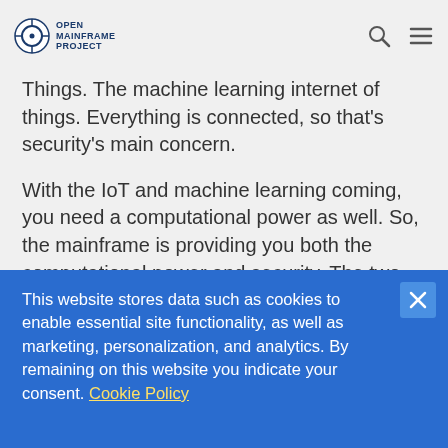Open Mainframe Project
Things. The machine learning internet of things. Everything is connected, so that's security's main concern.
With the IoT and machine learning coming, you need a computational power as well. So, the mainframe is providing you both the computational power and security. The two main technologies you need in two to three years. I have seen technologies at the open source summit, the machine learning things on the IBM platforms, the speech to text
This website stores data such as cookies to enable essential site functionality, as well as marketing, personalization, and analytics. By remaining on this website you indicate your consent. Cookie Policy